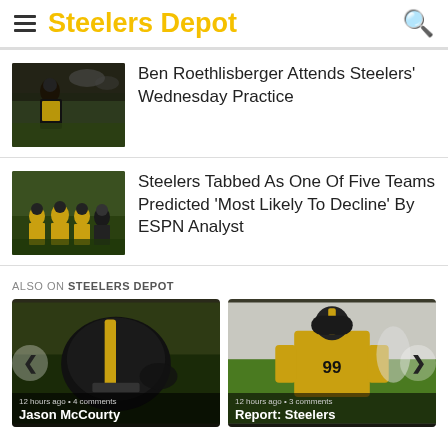Steelers Depot
[Figure (photo): Pittsburgh Steelers player on field during practice]
Ben Roethlisberger Attends Steelers' Wednesday Practice
[Figure (photo): Steelers players in yellow jerseys grouped on practice field]
Steelers Tabbed As One Of Five Teams Predicted 'Most Likely To Decline' By ESPN Analyst
ALSO ON STEELERS DEPOT
[Figure (photo): Steelers black and yellow helmet on field]
12 hours ago • 4 comments
Jason McCourty
[Figure (photo): Steelers player in yellow jersey at practice]
12 hours ago • 3 comments
Report: Steelers